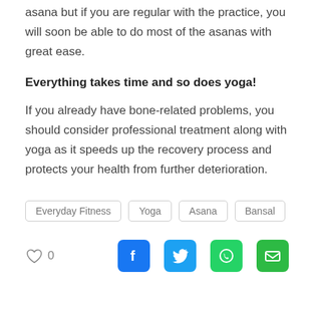asana but if you are regular with the practice, you will soon be able to do most of the asanas with great ease.
Everything takes time and so does yoga!
If you already have bone-related problems, you should consider professional treatment along with yoga as it speeds up the recovery process and protects your health from further deterioration.
Everyday Fitness
Yoga
Asana
Bansal